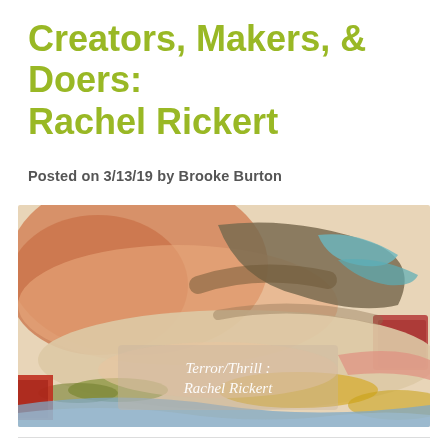Creators, Makers, & Doers: Rachel Rickert
Posted on 3/13/19 by Brooke Burton
[Figure (illustration): Abstract painting with brushstroke shapes in orange, brown, teal, red, olive and blue tones. Overlaid text reads 'Terror/Thrill : Rachel Rickert']